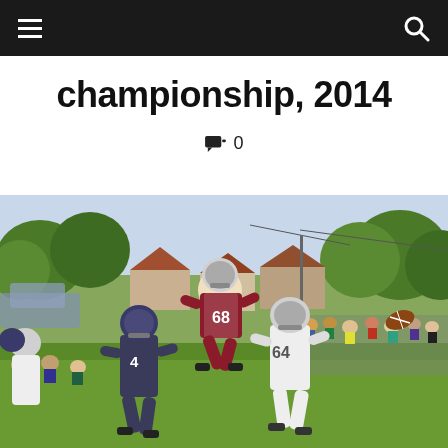Navigation bar with menu and search icons
championship, 2014
0 comments
[Figure (photo): Outdoor American football game action shot. A player wearing jersey number 68 in maroon/white uniform is airborne, appearing to kick a football. Player number 64 in white jersey and a defensive player number 4 in dark uniform are visible. Spectators sit along the sidelines in lawn chairs. Background shows suburban houses and green trees on a sunny day.]